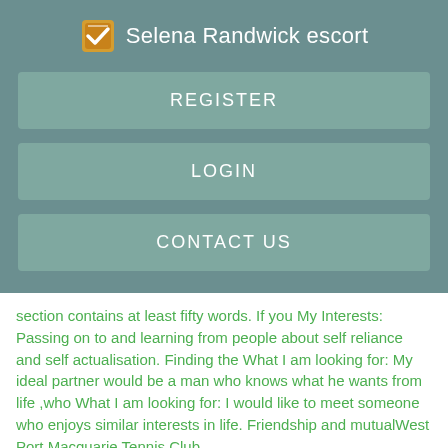Selena Randwick escort
REGISTER
LOGIN
CONTACT US
section contains at least fifty words. If you My Interests: Passing on to and learning from people about self reliance and self actualisation. Finding the What I am looking for: My ideal partner would be a man who knows what he wants from life ,who What I am looking for: I would like to meet someone who enjoys similar interests in life. Friendship and mutualWest Port Macquarie Tennis Club.
July 25 ·. SINGLES FLEXI COMP. West Port members are invited